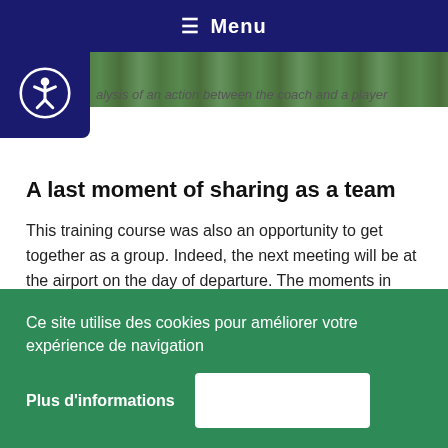☰ Menu
[Figure (photo): Green field/sports ground photo strip]
alysis of an action between the coach and a player
A last moment of sharing as a team
This training course was also an opportunity to get together as a group. Indeed, the next meeting will be at the airport on the day of departure. The moments in common had a family atmosphere
Ce site utilise des cookies pour améliorer votre expérience de navigation
Plus d'informations